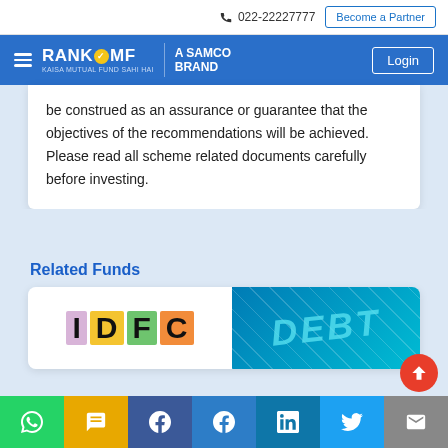022-22227777 | Become a Partner | Login
[Figure (logo): RankMF - A Samco Brand logo in blue navigation bar]
be construed as an assurance or guarantee that the objectives of the recommendations will be achieved. Please read all scheme related documents carefully before investing.
Related Funds
[Figure (illustration): IDFC Mutual Fund logo and a debt fund illustration with a person and DEBT text]
Social sharing buttons: WhatsApp, SMS, Facebook, Messenger, LinkedIn, Twitter, Email